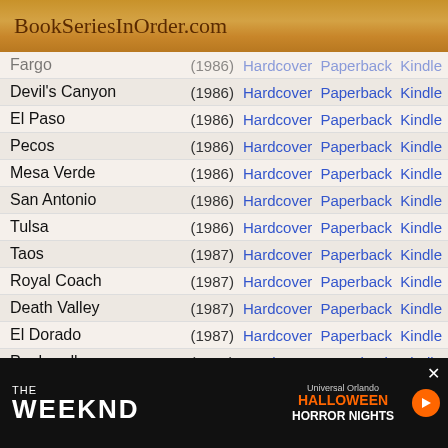BookSeriesInOrder.com
| Title | Year | Links |
| --- | --- | --- |
| Fargo | (1986) | Hardcover Paperback Kindle |
| Devil's Canyon | (1986) | Hardcover Paperback Kindle |
| El Paso | (1986) | Hardcover Paperback Kindle |
| Pecos | (1986) | Hardcover Paperback Kindle |
| Mesa Verde | (1986) | Hardcover Paperback Kindle |
| San Antonio | (1986) | Hardcover Paperback Kindle |
| Tulsa | (1986) | Hardcover Paperback Kindle |
| Taos | (1987) | Hardcover Paperback Kindle |
| Royal Coach | (1987) | Hardcover Paperback Kindle |
| Death Valley | (1987) | Hardcover Paperback Kindle |
| El Dorado | (1987) | Hardcover Paperback Kindle |
| Panhandle | (1987) | Hardcover Paperback Kindle |
| Rawhide | (1987) | Hardcover Paperback Kindle |
| Fort Verde | (1988) | Hardcover Paperback Kindle |
| Deadman Butte | (1988) | Hardcover Paperback Kindle |
[Figure (other): Advertisement banner for The Weeknd at Universal Orlando Halloween Horror Nights]